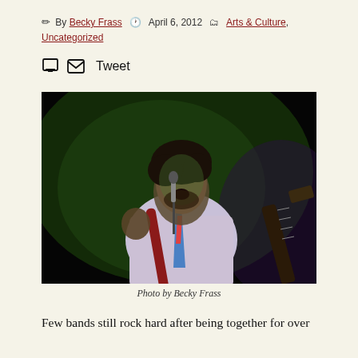✏ By Becky Frass  🕐 April 6, 2012  🗂 Arts & Culture, Uncategorized
🖨 ✉ Tweet
[Figure (photo): A male musician singing passionately into a microphone on a dark stage, lit by green/purple stage lighting, wearing a white shirt and colorful tie with a guitar strap visible. Photo by Becky Frass.]
Photo by Becky Frass
Few bands still rock hard after being together for over